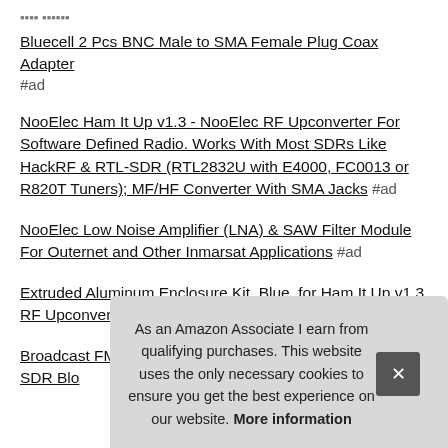Bluecell 2 Pcs BNC Male to SMA Female Plug Coax Adapter #ad
NooElec Ham It Up v1.3 - NooElec RF Upconverter For Software Defined Radio. Works With Most SDRs Like HackRF & RTL-SDR (RTL2832U with E4000, FC0013 or R820T Tuners); MF/HF Converter With SMA Jacks #ad
NooElec Low Noise Amplifier (LNA) & SAW Filter Module For Outernet and Other Inmarsat Applications #ad
Extruded Aluminum Enclosure Kit, Blue, for Ham It Up v1.3 RF Upconverter for NESDR and RTL-SDR radios #ad
Broadcast FM Block Filter (88 - 108 MHz Block) by RTL-SDR Blo...
As an Amazon Associate I earn from qualifying purchases. This website uses the only necessary cookies to ensure you get the best experience on our website. More information